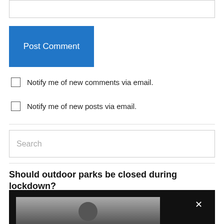(input box — top of page, partially visible)
Post Comment
Notify me of new comments via email.
Notify me of new posts via email.
Search
Should outdoor parks be closed during lockdown?
[Figure (photo): A person outdoors against a cloudy sky, shown in a dark video player embed with a close/X button.]